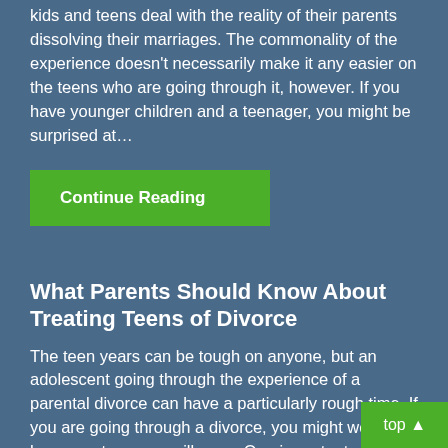kids and teens deal with the reality of their parents dissolving their marriages. The commonality of the experience doesn't necessarily make it any easier on the teens who are going through it, however. If you have younger children and a teenager, you might be surprised at...
Continue Reading
What Parents Should Know About Treating Teens of Divorce
The teen years can be tough on anyone, but an adolescent going through the experience of a parental divorce can have a particularly rough time. If you are going through a divorce, you might wonder how your teenager will cope. One important part of divorce care for kids and teens is to get them counseling...
Continue Reading